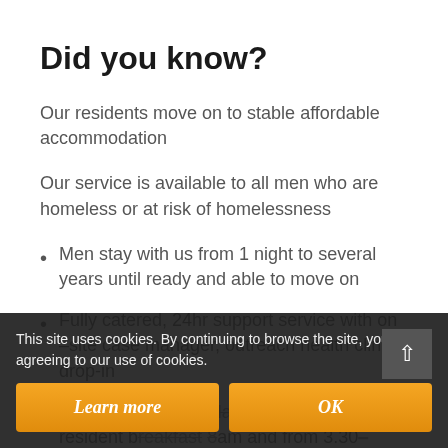Did you know?
Our residents move on to stable affordable accommodation
Our service is available to all men who are homeless or at risk of homelessness
Men stay with us from 1 night to several years until ready and able to move on
Fully catered, 24hr support service with on –site case manager, outreach health clinic, drop-in
We provide shelter, laundry, and meals for resident breakfast 8am and from 3.30–5.30pm, weekdays
This site uses cookies. By continuing to browse the site, you are agreeing to our use of cookies.